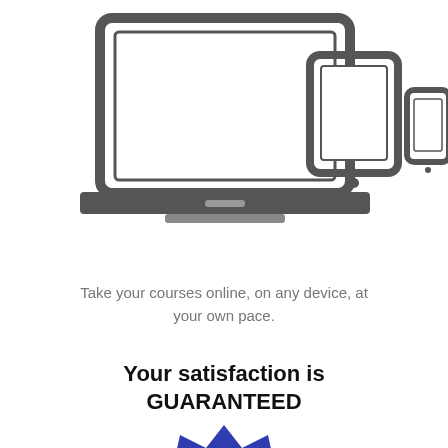[Figure (illustration): Icons of a laptop, tablet, and smartphone arranged side by side, representing multi-device online learning.]
Take your courses online, on any device, at your own pace.
Your satisfaction is GUARANTEED
[Figure (illustration): A blue starburst/badge shape with '100%' written in large white bold text, cut off at the bottom of the page.]